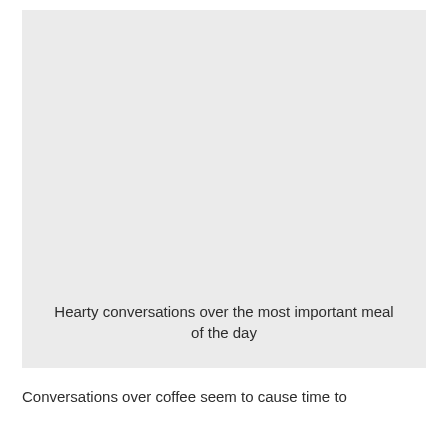[Figure (photo): Large light grey placeholder image area with caption text at the bottom reading 'Hearty conversations over the most important meal of the day']
Hearty conversations over the most important meal of the day
Conversations over coffee seem to cause time to